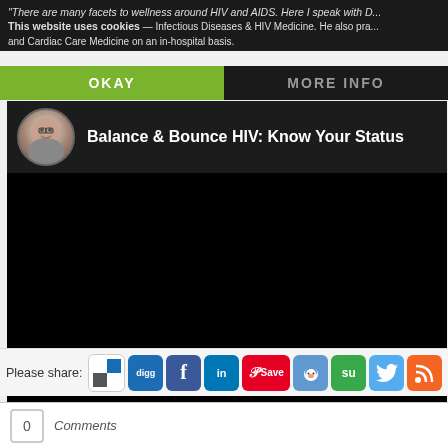There are many facets to wellness around HIV and AIDS. Here I speak with D... Infectious Diseases & HIV Medicine. He also pra... and Cardiac Care Medicine on an in-hospital basis.
This website uses cookies
OKAY
MORE INFO
[Figure (screenshot): Video player showing 'Balance & Bounce HIV: Know Your Status' with a circular avatar of a woman with glasses on the left, title text in white on dark background, and a large black video area below.]
Please share:
Comments